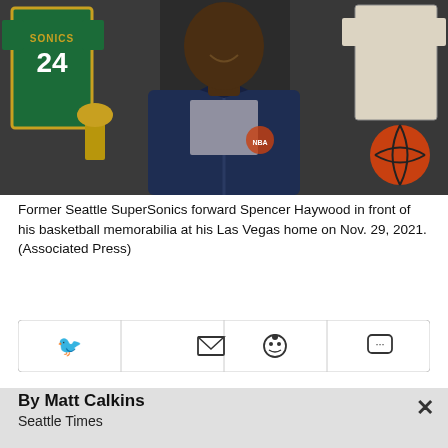[Figure (photo): Former Seattle SuperSonics forward Spencer Haywood smiling, wearing a dark navy blue zip-up jacket, standing in front of basketball memorabilia including a green #24 Sonics jersey and a white framed jersey on the right, with a basketball and trophy visible in the background.]
Former Seattle SuperSonics forward Spencer Haywood in front of his basketball memorabilia at his Las Vegas home on Nov. 29, 2021. (Associated Press)
By Matt Calkins
Seattle Times